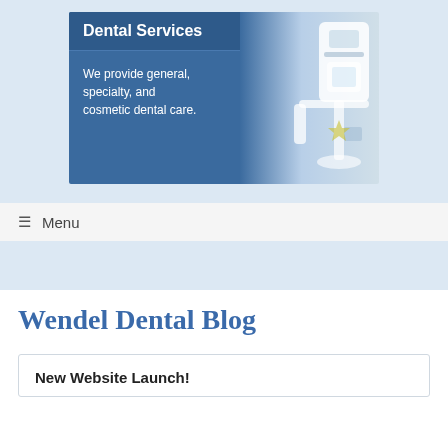[Figure (illustration): Dental Services banner image with blue background showing 'Dental Services' title and text 'We provide general, specialty, and cosmetic dental care.' with dental equipment silhouette on the right.]
≡  Menu
Wendel Dental Blog
New Website Launch!